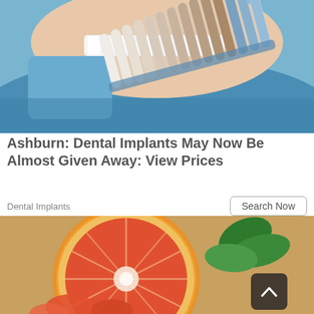[Figure (photo): Dental patient having tooth shade matched with color swatches in dental office. Gloved dentist hand holds a tooth shade guide near patient's open mouth.]
Ashburn: Dental Implants May Now Be Almost Given Away: View Prices
Dental Implants
[Figure (photo): Close-up of halved grapefruit and grapefruit segments with mint leaves, alongside a person in jeans holding their waist — weight loss themed advertisement image.]